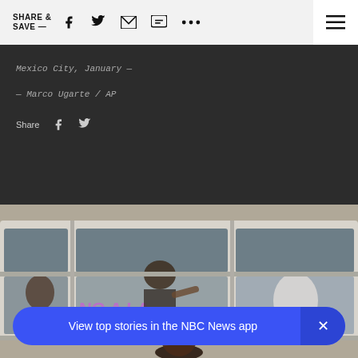SHARE & SAVE —
Mexico City, January —
— Marco Ugarte / AP
Share
[Figure (photo): People writing 'NO A LA GASOLINA' in purple on the windows of a bus in Mexico City during a protest against gas price hikes.]
View top stories in the NBC News app